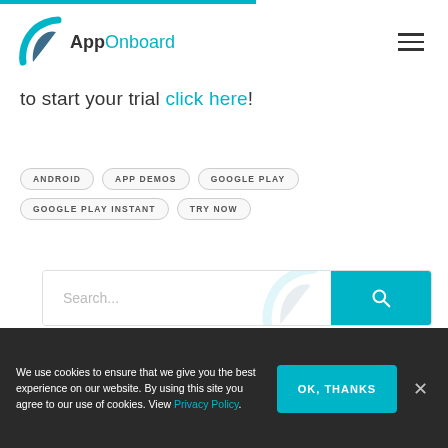[Figure (logo): AppOnboard logo with teal chevron-shaped icon and text 'AppOnboard' where 'App' is dark and 'Onboard' is teal]
to start your trial click here!
ANDROID
APP DEMOS
GOOGLE PLAY
GOOGLE PLAY INSTANT
TRY NOW
[Figure (screenshot): Search input field with placeholder 'Search...' and teal search button with magnifying glass icon]
We use cookies to ensure that we give you the best experience on our website. By using this site you agree to our use of cookies. View Privacy Policy.